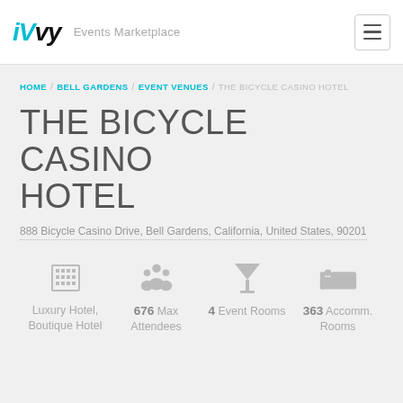iVvy Events Marketplace
HOME / BELL GARDENS / EVENT VENUES / THE BICYCLE CASINO HOTEL
THE BICYCLE CASINO HOTEL
888 Bicycle Casino Drive, Bell Gardens, California, United States, 90201
[Figure (infographic): Four stat icons: hotel building icon (Luxury Hotel, Boutique Hotel), group of people icon (676 Max Attendees), cocktail glass icon (4 Event Rooms), hotel bed icon (363 Accomm. Rooms)]